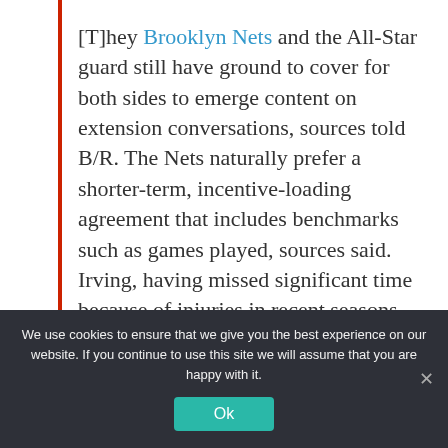[T]hey Brooklyn Nets and the All-Star guard still have ground to cover for both sides to emerge content on extension conversations, sources told B/R. The Nets naturally prefer a shorter-term, incentive-loading agreement that includes benchmarks such as games played, sources said. Irving, having missed significant time because of injuries in recent seasons, has prioritized a longer-term contract.
We use cookies to ensure that we give you the best experience on our website. If you continue to use this site we will assume that you are happy with it.